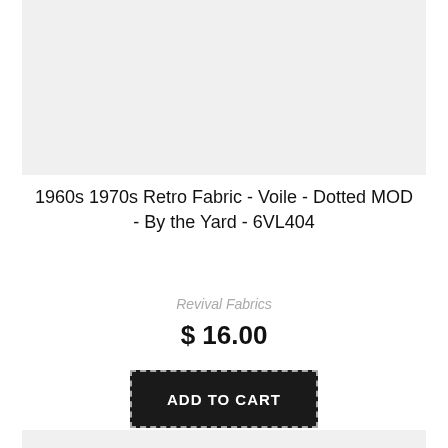[Figure (photo): Product image placeholder - light gray background representing fabric product image]
1960s 1970s Retro Fabric - Voile - Dotted MOD - By the Yard - 6VL404
Revival Fabrics
$ 16.00
ADD TO CART